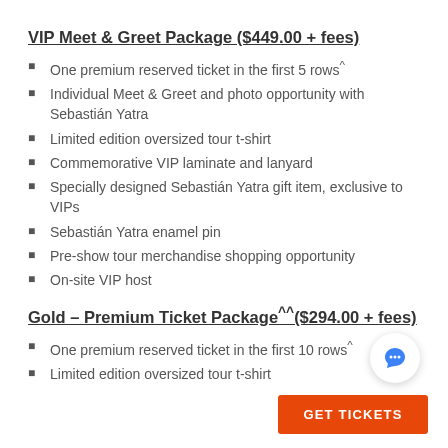VIP Meet & Greet Package ($449.00 + fees)
One premium reserved ticket in the first 5 rows^
Individual Meet & Greet and photo opportunity with Sebastián Yatra
Limited edition oversized tour t-shirt
Commemorative VIP laminate and lanyard
Specially designed Sebastián Yatra gift item, exclusive to VIPs
Sebastián Yatra enamel pin
Pre-show tour merchandise shopping opportunity
On-site VIP host
Gold – Premium Ticket Package^^($294.00 + fees)
One premium reserved ticket in the first 10 rows^
Limited edition oversized tour t-shirt